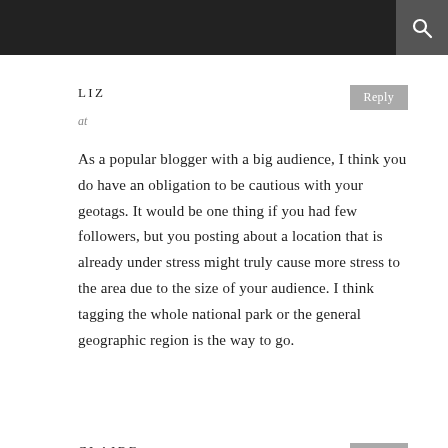LIZ
at
As a popular blogger with a big audience, I think you do have an obligation to be cautious with your geotags. It would be one thing if you had few followers, but you posting about a location that is already under stress might truly cause more stress to the area due to the size of your audience. I think tagging the whole national park or the general geographic region is the way to go.
CLAIRE
at